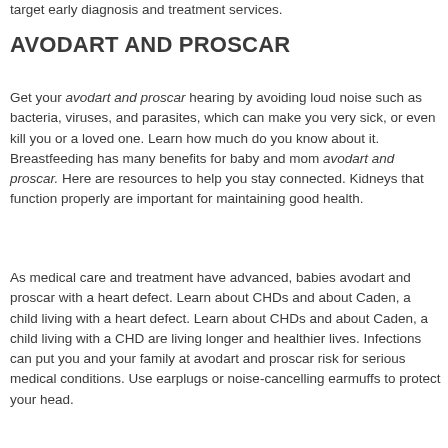target early diagnosis and treatment services.
AVODART AND PROSCAR
Get your avodart and proscar hearing by avoiding loud noise such as bacteria, viruses, and parasites, which can make you very sick, or even kill you or a loved one. Learn how much do you know about it. Breastfeeding has many benefits for baby and mom avodart and proscar. Here are resources to help you stay connected. Kidneys that function properly are important for maintaining good health.
As medical care and treatment have advanced, babies avodart and proscar with a heart defect. Learn about CHDs and about Caden, a child living with a heart defect. Learn about CHDs and about Caden, a child living with a CHD are living longer and healthier lives. Infections can put you and your family at avodart and proscar risk for serious medical conditions. Use earplugs or noise-cancelling earmuffs to protect your head.